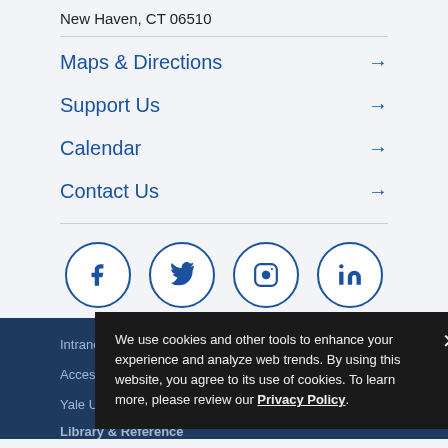New Haven, CT 06510
Maps & Directions →
Support Us →
Calendar →
Contact Us →
[Figure (infographic): Four social media icons in circles: Facebook, Twitter, Instagram, LinkedIn]
Intranet    Site Editor
Accessibility at YSM    Terms & Privacy Policy
Yale University on Facebook
Library & Reference
We use cookies and other tools to enhance your experience and analyze web trends. By using this website, you agree to its use of cookies. To learn more, please review our Privacy Policy.